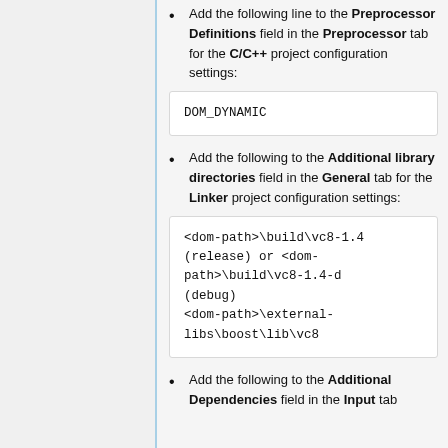Add the following line to the Preprocessor Definitions field in the Preprocessor tab for the C/C++ project configuration settings:
DOM_DYNAMIC
Add the following to the Additional library directories field in the General tab for the Linker project configuration settings:
<dom-path>\build\vc8-1.4(release) or <dom-path>\build\vc8-1.4-d(debug)
<dom-path>\external-libs\boost\lib\vc8
Add the following to the Additional Dependencies field in the Input tab